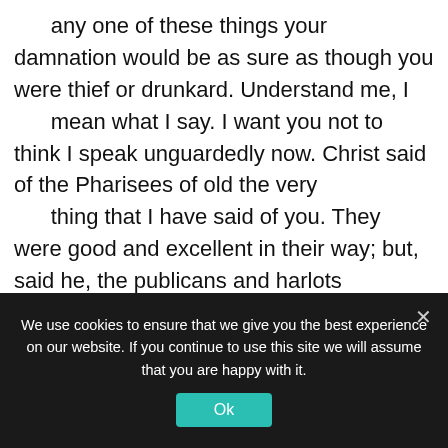any one of these things your damnation would be as sure as though you were thief or drunkard. Understand me, I mean what I say. I want you not to think I speak unguardedly now. Christ said of the Pharisees of old the very thing that I have said of you. They were good and excellent in their way; but, said he, the publicans and harlots enter the kingdom of God before you, because they would go the wrong way, while
We use cookies to ensure that we give you the best experience on our website. If you continue to use this site we will assume that you are happy with it.